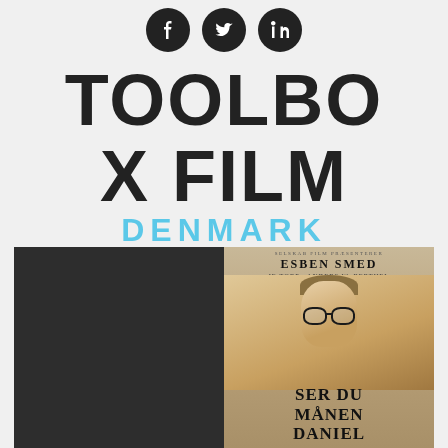[Figure (logo): Social media icons: Facebook, Twitter, LinkedIn in black circles]
TOOLBOX FILM DENMARK
[Figure (photo): Movie poster for 'Ser Du Månen Daniel' featuring actor Esben Smed with glasses, alongside a dark left panel]